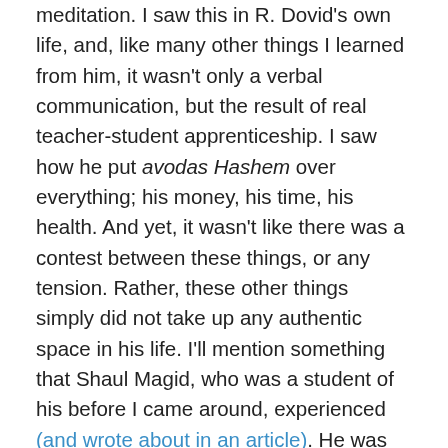meditation. I saw this in R. Dovid's own life, and, like many other things I learned from him, it wasn't only a verbal communication, but the result of real teacher-student apprenticeship. I saw how he put avodas Hashem over everything; his money, his time, his health. And yet, it wasn't like there was a contest between these things, or any tension. Rather, these other things simply did not take up any authentic space in his life. I'll mention something that Shaul Magid, who was a student of his before I came around, experienced (and wrote about in an article). He was traveling with Reb Dovid somewhere by plane. Dovid used to pray for a very long time. It turned out that because of Reb Dovid's lengthy prayers, they missed the plane. However, Dovid didn't flinch at all. He didn't even show any regret. It was like nothing had happened. Because, after all, how could one compare catching a plane to proximity to God. That latter was so much more...